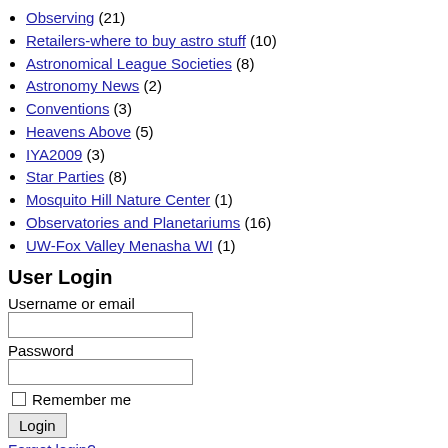Observing (21)
Retailers-where to buy astro stuff (10)
Astronomical League Societies (8)
Astronomy News (2)
Conventions (3)
Heavens Above (5)
IYA2009 (3)
Star Parties (8)
Mosquito Hill Nature Center (1)
Observatories and Planetariums (16)
UW-Fox Valley Menasha WI (1)
User Login
Username or email
Password
Remember me
Login
Forgot login?
Club Meetings